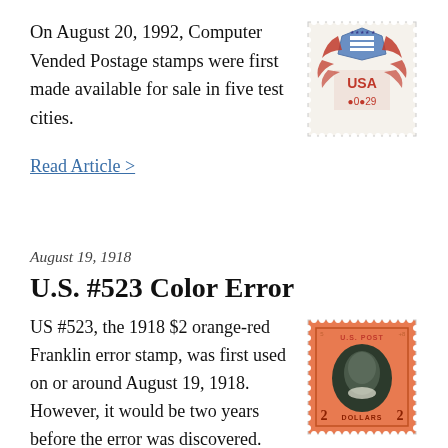On August 20, 1992, Computer Vended Postage stamps were first made available for sale in five test cities.
[Figure (illustration): US postage stamp with red eagle/shield design and 'USA' text, value 0.29]
Read Article >
August 19, 1918
U.S. #523 Color Error
US #523, the 1918 $2 orange-red Franklin error stamp, was first used on or around August 19, 1918. However, it would be two years before the error was discovered.
[Figure (illustration): US postage stamp showing Benjamin Franklin portrait in dark ink on orange-red background, '$2 Dollars' denomination]